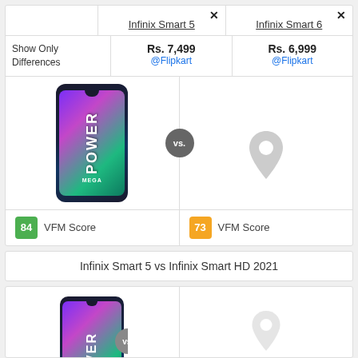Infinix Smart 5
Infinix Smart 6
Show Only Differences
Rs. 7,499 @Flipkart
Rs. 6,999 @Flipkart
[Figure (photo): Infinix Smart 5 phone showing POWER MEGA branding with purple and green screen]
[Figure (illustration): Location pin icon placeholder for Infinix Smart 6 image]
84 VFM Score
73 VFM Score
Infinix Smart 5 vs Infinix Smart HD 2021
[Figure (photo): Partial view of Infinix Smart 5 phone at bottom of page]